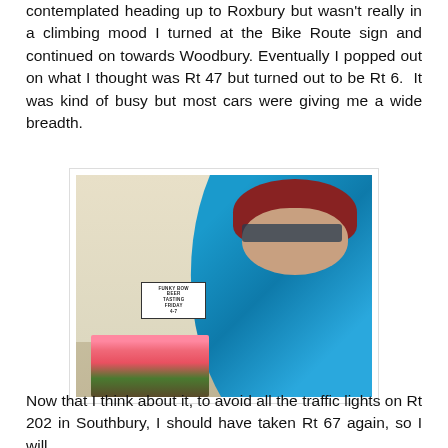contemplated heading up to Roxbury but wasn't really in a climbing mood I turned at the Bike Route sign and continued on towards Woodbury. Eventually I popped out on what I thought was Rt 47 but turned out to be Rt 6.  It was kind of busy but most cars were giving me a wide breadth.
[Figure (photo): A selfie-style photo of a cyclist wearing a red helmet with 'CYCLES' text, white/dark sunglasses, and a teal/blue cycling jersey with 'GEAR' visible. In the background is a building with cream/yellow siding and a store entrance. A small sign in the foreground reads 'FUNKY BOW BEER TASTING FRIDAY 4-7'. Pink/red tulips are visible in the lower left.]
Now that I think about it, to avoid all the traffic lights on Rt 202 in Southbury, I should have taken Rt 67 again, so I will